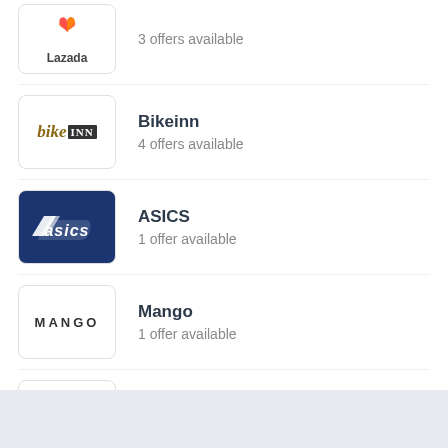[Figure (logo): Lazada logo with heart icon]
3 offers available
[Figure (logo): BikeINN logo]
Bikeinn
4 offers available
[Figure (logo): ASICS logo on dark blue background]
ASICS
1 offer available
[Figure (logo): Mango logo]
Mango
1 offer available
[Figure (logo): Doughnut logo]
Doughnut
7 offers available